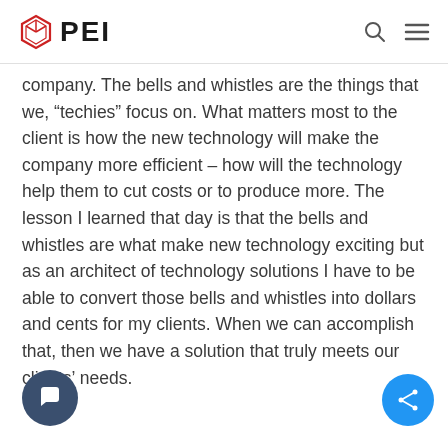PEI
company.  The bells and whistles are the things that we, “techies” focus on.  What matters most to the client is how the new technology will make the company more efficient – how will the technology help them to cut costs or to produce more.  The lesson I learned that day is that the bells and whistles are what make new technology exciting but as an architect of technology solutions I have to be able to convert those bells and whistles into dollars and cents for my clients.  When we can accomplish that, then we have a solution that truly meets our clients’ needs.